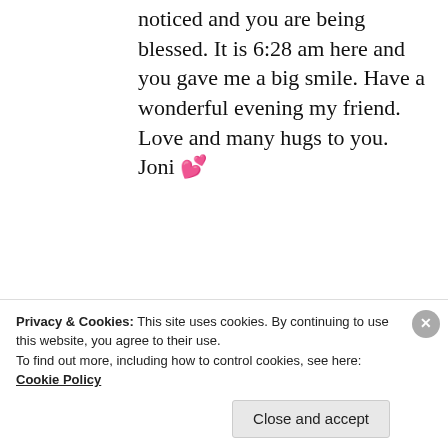noticed and you are being blessed. It is 6:28 am here and you gave me a big smile. Have a wonderful evening my friend. Love and many hugs to you. Joni 💕
★ Liked by 1 person
REPLY
ISHITA GUPTA
Privacy & Cookies: This site uses cookies. By continuing to use this website, you agree to their use. To find out more, including how to control cookies, see here: Cookie Policy
Close and accept